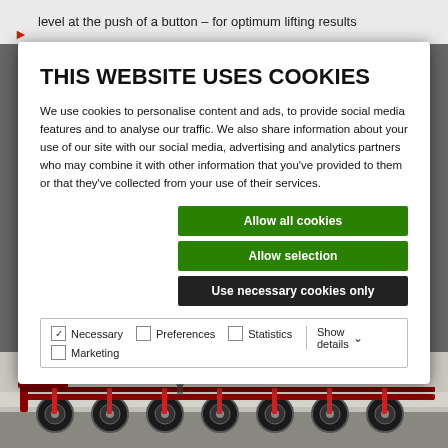level at the push of a button – for optimum lifting results
Does not apply here that have been cut too low but the
THIS WEBSITE USES COOKIES
We use cookies to personalise content and ads, to provide social media features and to analyse our traffic. We also share information about your use of our site with our social media, advertising and analytics partners who may combine it with other information that you've provided to them or that they've collected from your use of their services.
Allow all cookies
Allow selection
Use necessary cookies only
Necessary  Preferences  Statistics  Show details  Marketing
[Figure (photo): Agricultural machinery with disc rollers photographed from above, red and black equipment on white/grey ground]